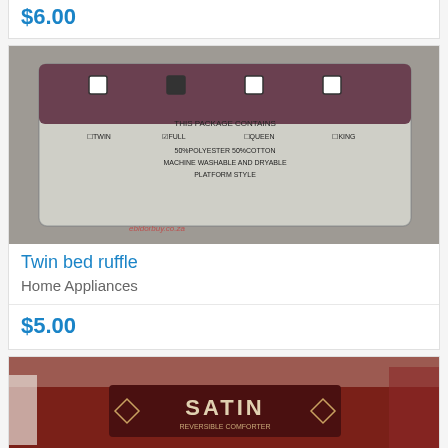$6.00
[Figure (photo): A packaged twin bed ruffle in clear plastic packaging on a carpet. The label reads TWIN, QUEEN, KING options, 50% Polyester 50% Cotton, Machine Washable and Dryable, Platform Style.]
Twin bed ruffle
Home Appliances
$5.00
[Figure (photo): A packaged satin reversible comforter in dark red/burgundy plastic packaging showing the word SATIN and text.]